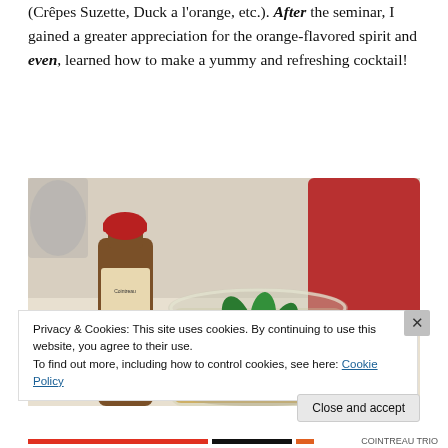(Crêpes Suzette, Duck a l'orange, etc.). After the seminar, I gained a greater appreciation for the orange-flavored spirit and even, learned how to make a yummy and refreshing cocktail!
[Figure (photo): A cocktail glass filled with a yellow-amber drink and fresh mint leaves, next to a small bottle of liqueur with a red cap. Watermark reads 'Milkay Photography'.]
Privacy & Cookies: This site uses cookies. By continuing to use this website, you agree to their use.
To find out more, including how to control cookies, see here: Cookie Policy
Close and accept